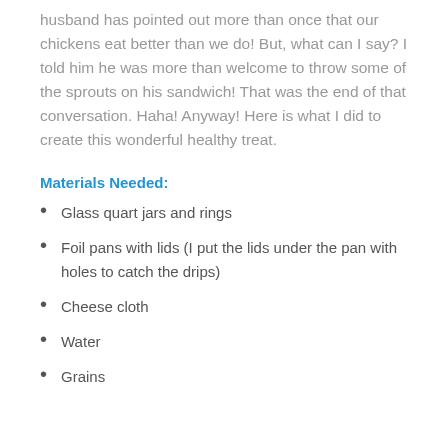husband has pointed out more than once that our chickens eat better than we do! But, what can I say? I told him he was more than welcome to throw some of the sprouts on his sandwich! That was the end of that conversation. Haha! Anyway! Here is what I did to create this wonderful healthy treat.
Materials Needed:
Glass quart jars and rings
Foil pans with lids (I put the lids under the pan with holes to catch the drips)
Cheese cloth
Water
Grains